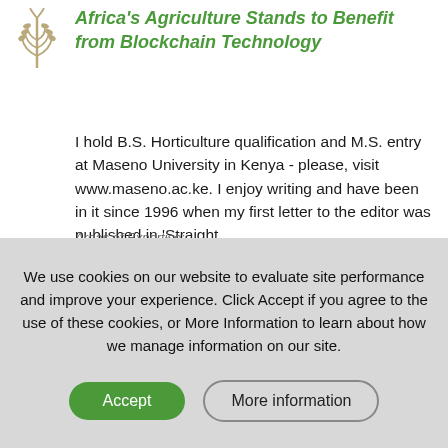[Figure (logo): Stylized wheat/plant logo icon in beige/tan color]
Africa's Agriculture Stands to Benefit from Blockchain Technology
I hold B.S. Horticulture qualification and M.S. entry at Maseno University in Kenya - please, visit www.maseno.ac.ke. I enjoy writing and have been in it since 1996 when my first letter to the editor was published in 'Straight...
Areas of Expertise:
We use cookies on our website to evaluate site performance and improve your experience. Click Accept if you agree to the use of these cookies, or More Information to learn about how we manage information on our site.